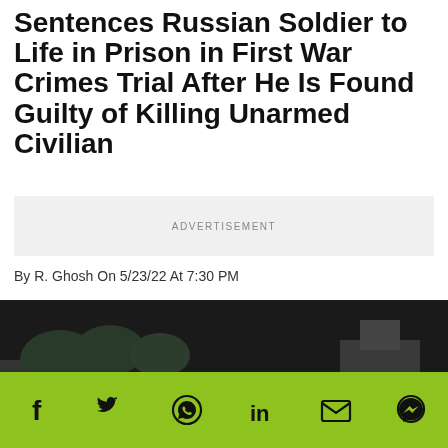Sentences Russian Soldier to Life in Prison in First War Crimes Trial After He Is Found Guilty of Killing Unarmed Civilian
ADVERTISEMENT
By R. Ghosh On 5/23/22 At 7:30 PM
[Figure (photo): Soldiers riding on a military tank in an urban war zone, with destroyed vehicles and buildings in the background.]
[Figure (infographic): Social media sharing bar with icons for Facebook, Twitter, WhatsApp, LinkedIn, Email, and Messenger on a green background.]